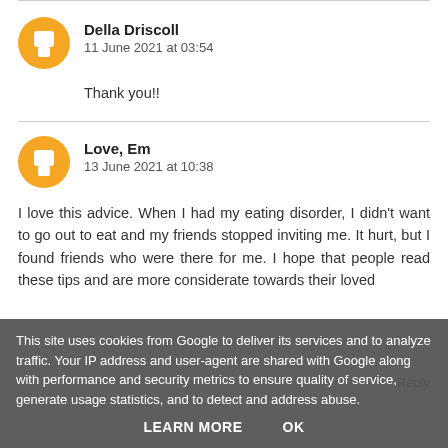Della Driscoll
11 June 2021 at 03:54
Thank you!!
Love, Em
13 June 2021 at 10:38
I love this advice. When I had my eating disorder, I didn't want to go out to eat and my friends stopped inviting me. It hurt, but I found friends who were there for me. I hope that people read these tips and are more considerate towards their loved ones. Thanks for sharing, Em♡
This site uses cookies from Google to deliver its services and to analyze traffic. Your IP address and user-agent are shared with Google along with performance and security metrics to ensure quality of service, generate usage statistics, and to detect and address abuse.
LEARN MORE
OK